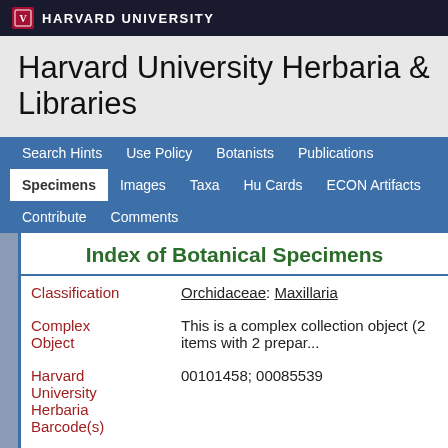HARVARD UNIVERSITY
Harvard University Herbaria & Libraries
Search Hints  Use Policy  Botanists  Publications  Specimens  Images  Taxa  Hu Cards  ECON Artifacts  Contribute  Comments
Index of Botanical Specimens
| Field | Value |
| --- | --- |
| Classification | Orchidaceae: Maxillaria |
| Complex Object | This is a complex collection object (2 items with 2 prepar... |
| Harvard University Herbaria Barcode(s) | 00101458; 00085539 |
| Type Status | TypeMaterial |
| Collector | M. Bang |
| Collector | 457 |